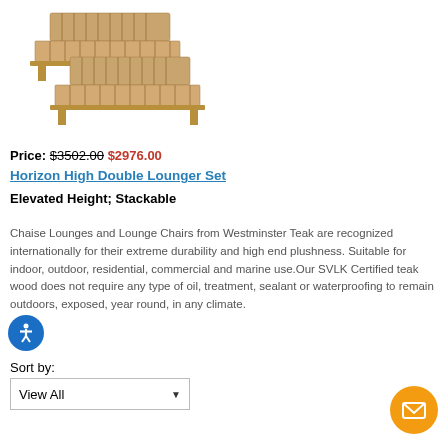[Figure (photo): Two teak wood chaise lounge chairs side by side, elevated height, in a natural light wood finish]
Price: $3502.00 $2976.00
Horizon High Double Lounger Set
Elevated Height; Stackable
Chaise Lounges and Lounge Chairs from Westminster Teak are recognized internationally for their extreme durability and high end plushness. Suitable for indoor, outdoor, residential, commercial and marine use.Our SVLK Certified teak wood does not require any type of oil, treatment, sealant or waterproofing to remain outdoors, exposed, year round, in any climate.
Sort by:
View All